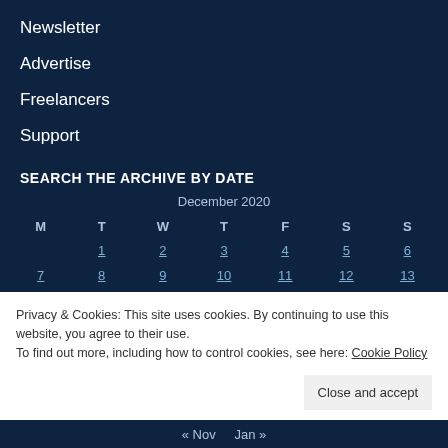Newsletter
Advertise
Freelancers
Support
SEARCH THE ARCHIVE BY DATE
| M | T | W | T | F | S | S |
| --- | --- | --- | --- | --- | --- | --- |
|  | 1 | 2 | 3 | 4 | 5 | 6 |
| 7 | 8 | 9 | 10 | 11 | 12 | 13 |
Privacy & Cookies: This site uses cookies. By continuing to use this website, you agree to their use.
To find out more, including how to control cookies, see here: Cookie Policy
Close and accept
« Nov   Jan »